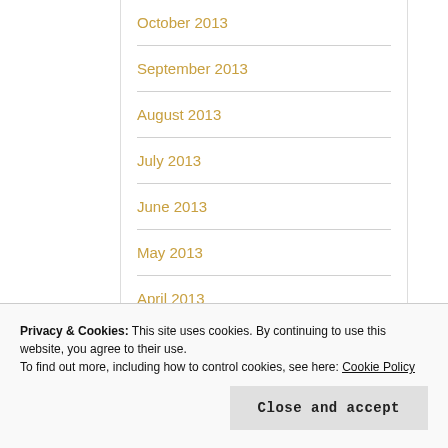October 2013
September 2013
August 2013
July 2013
June 2013
May 2013
April 2013
March 2013
Privacy & Cookies: This site uses cookies. By continuing to use this website, you agree to their use.
To find out more, including how to control cookies, see here: Cookie Policy
Close and accept